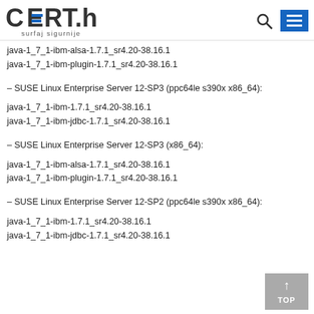CERT.hr surfaj sigurnije
java-1_7_1-ibm-alsa-1.7.1_sr4.20-38.16.1
java-1_7_1-ibm-plugin-1.7.1_sr4.20-38.16.1
– SUSE Linux Enterprise Server 12-SP3 (ppc64le s390x x86_64):
java-1_7_1-ibm-1.7.1_sr4.20-38.16.1
java-1_7_1-ibm-jdbc-1.7.1_sr4.20-38.16.1
– SUSE Linux Enterprise Server 12-SP3 (x86_64):
java-1_7_1-ibm-alsa-1.7.1_sr4.20-38.16.1
java-1_7_1-ibm-plugin-1.7.1_sr4.20-38.16.1
– SUSE Linux Enterprise Server 12-SP2 (ppc64le s390x x86_64):
java-1_7_1-ibm-1.7.1_sr4.20-38.16.1
java-1_7_1-ibm-jdbc-1.7.1_sr4.20-38.16.1